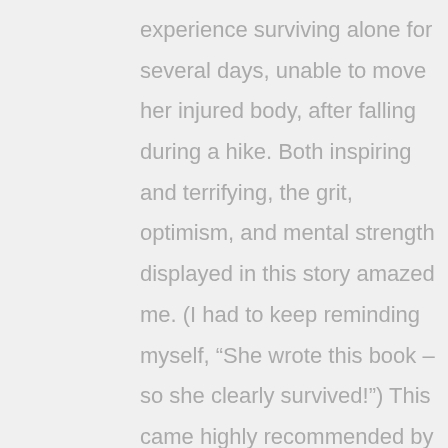experience surviving alone for several days, unable to move her injured body, after falling during a hike. Both inspiring and terrifying, the grit, optimism, and mental strength displayed in this story amazed me. (I had to keep reminding myself, “She wrote this book – so she clearly survived!”) This came highly recommended by my daughter, an avid hiker herself.